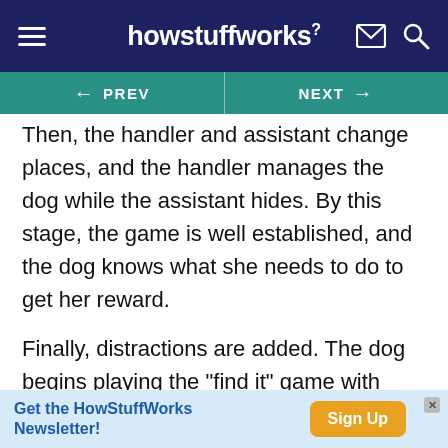howstuffworks
PREV   NEXT
Then, the handler and assistant change places, and the handler manages the dog while the assistant hides. By this stage, the game is well established, and the dog knows what she needs to do to get her reward.
Finally, distractions are added. The dog begins playing the "find it" game with people and dogs milling about the area and avalanche-search equipment, like poles and shovels, lying around. In a real avalanche search, distractions are everywhere
Get the HowStuffWorks Newsletter!   Sign Up